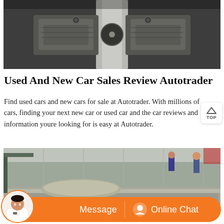[Figure (photo): Close-up photo of dark metal machine parts, likely a lathe chuck or industrial clamp mechanism with gray metallic components.]
Used And New Car Sales Review Autotrader
Find used cars and new cars for sale at Autotrader. With millions of cars, finding your next new car or used car and the car reviews and information youre looking for is easy at Autotrader.
[Figure (photo): Industrial warehouse interior showing large metal components or panels being assembled, with workers visible in the background.]
[Figure (other): Orange chat bar at bottom with Message button and Online Chat button, with customer service avatar on the left side.]